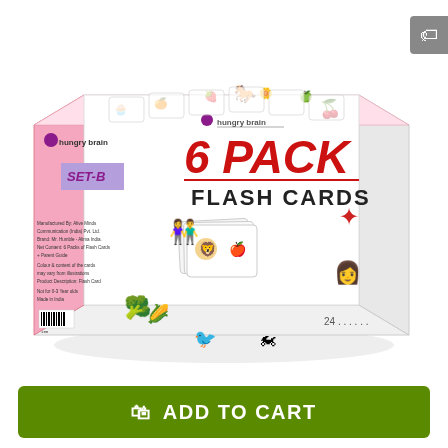[Figure (photo): Product photo of Hungry Brain 6 Pack Flash Cards Set-B box. The box is white with pink sides, featuring colorful illustrations of animals, food, people, and objects. The front shows '6 PACK FLASH CARDS' text in red and black, with the Hungry Brain logo. The side shows 'SET-B' label.]
ADD TO CART